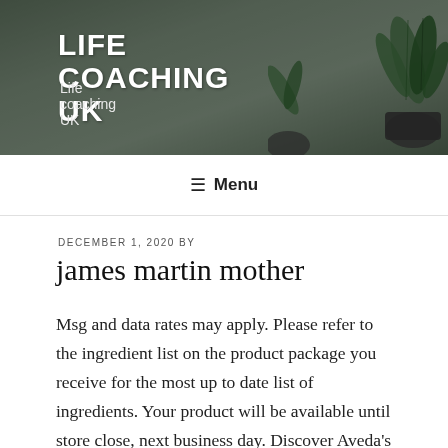LIFE COACHING UK
Life coaching UK
[Figure (photo): Header banner with plant/succulent silhouettes on dark blurred background]
≡ Menu
DECEMBER 1, 2020 BY
james martin mother
Msg and data rates may apply. Please refer to the ingredient list on the product package you receive for the most up to date list of ingredients. Your product will be available until store close, next business day. Discover Aveda's best aromatherapy shampoos, conditioners and hair oils, enriched with 25 flower and plant essences for a pure moment of peace. Please enter your email address in the following format: jane@aol.com. For full Terms and